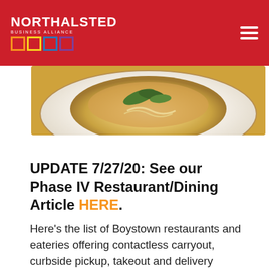NORTHALSTED BUSINESS ALLIANCE
[Figure (photo): Close-up photo of a restaurant dish, a bowl of soup or ramen with greens and broth, on a white plate, warm tones]
UPDATE 7/27/20: See our Phase IV Restaurant/Dining Article HERE.
Here’s the list of Boystown restaurants and eateries offering contactless carryout, curbside pickup, takeout and delivery service.